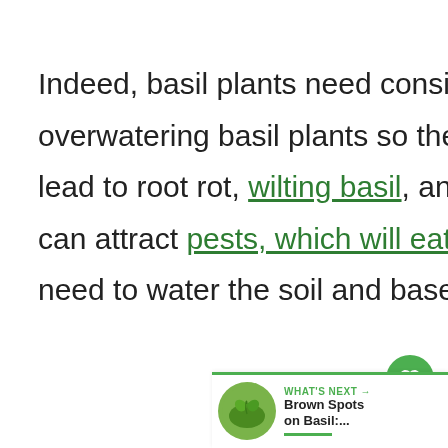Indeed, basil plants need consistently moist soil, but overwatering basil plants so the soil is soupy or boggy can lead to root rot, wilting basil, and a distressed plant (which can attract pests, which will eat your plant!). Likewise, you need to water the soil and base of the stem, rat...
[Figure (other): Green heart/like button (circle), share button, and WHAT'S NEXT navigation card showing Brown Spots on Basil with a thumbnail image of basil leaves]